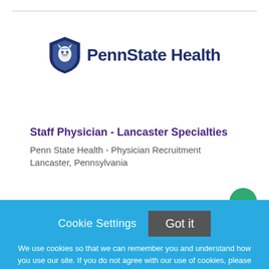[Figure (logo): Penn State Health logo with lion mascot shield and wordmark text 'PennState Health' in dark navy blue]
Staff Physician - Lancaster Specialties
Penn State Health - Physician Recruitment
Lancaster, Pennsylvania
Cookie Settings   Got it
We use cookies so that we can remember you and understand how you use our site. If you do not agree with our use of cookies, please change the current settings found in our Cookie Policy. Otherwise, you agree to the use of the cookies as they are currently set.